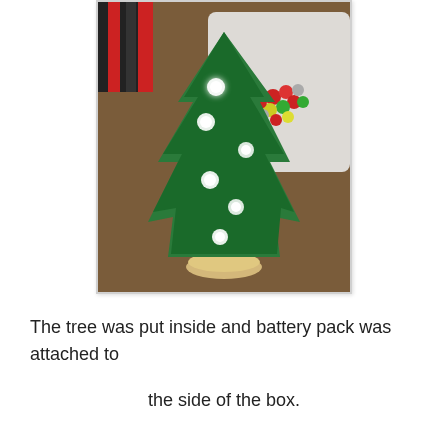[Figure (photo): A small artificial Christmas tree with glowing white LED lights, placed on a wooden circular base. In the background is a white tray or box containing small colorful ornament balls (red, green, silver). The scene is set on a brown surface.]
The tree was put inside and battery pack was attached to the side of the box.